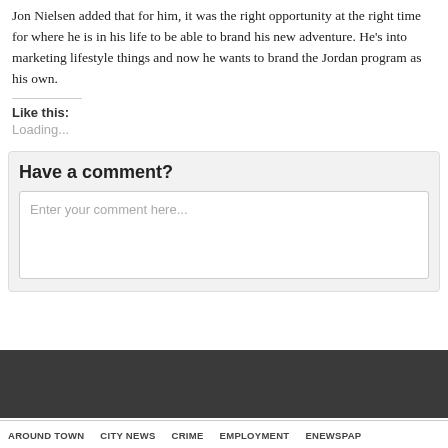Jon Nielsen added that for him, it was the right opportunity at the right time for where he is in his life to be able to brand his new adventure. He’s into marketing lifestyle things and now he wants to brand the Jordan program as his own.
Like this:
Loading...
Have a comment?
Enter your comment here...
AROUND TOWN   CITY NEWS   CRIME   EMPLOYMENT   ENEWSPAP...